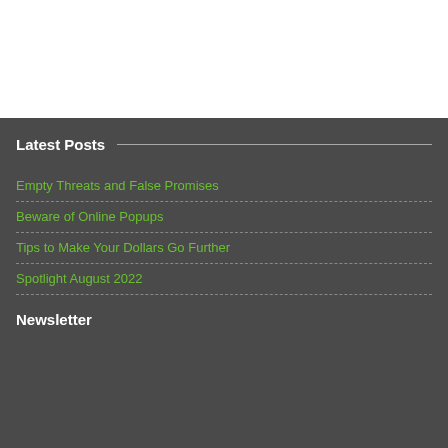Latest Posts
Empty Threats and False Promises
Beware of Online Popups
Tips to Make Your Dollars Go Further
Spotlight August 2022
Newsletter